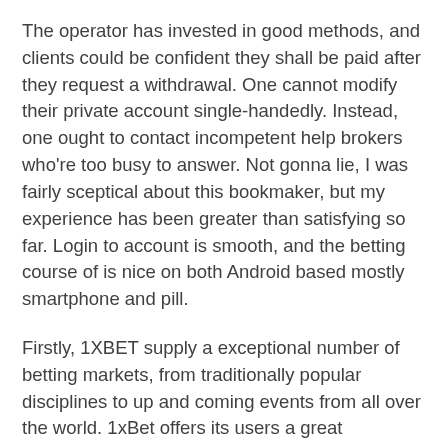The operator has invested in good methods, and clients could be confident they shall be paid after they request a withdrawal. One cannot modify their private account single-handedly. Instead, one ought to contact incompetent help brokers who're too busy to answer. Not gonna lie, I was fairly sceptical about this bookmaker, but my experience has been greater than satisfying so far. Login to account is smooth, and the betting course of is nice on both Android based mostly smartphone and pill.
Firstly, 1XBET supply a exceptional number of betting markets, from traditionally popular disciplines to up and coming events from all over the world. 1xBet offers its users a great alternative to observe stay IPL 2022 occasions each utilizing the cell app and by way of their personal computer. Thanks to this feature, all gamers from India can analyze IPL matches, make predictions and guess on the IPL. The IPL is among the